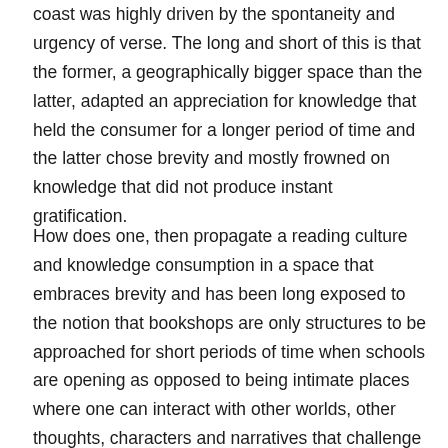coast was highly driven by the spontaneity and urgency of verse. The long and short of this is that the former, a geographically bigger space than the latter, adapted an appreciation for knowledge that held the consumer for a longer period of time and the latter chose brevity and mostly frowned on knowledge that did not produce instant gratification.
How does one, then propagate a reading culture and knowledge consumption in a space that embraces brevity and has been long exposed to the notion that bookshops are only structures to be approached for short periods of time when schools are opening as opposed to being intimate places where one can interact with other worlds, other thoughts, characters and narratives that challenge the way we think? Much as our reading culture is undergoing a paradigm shift, and more coastal